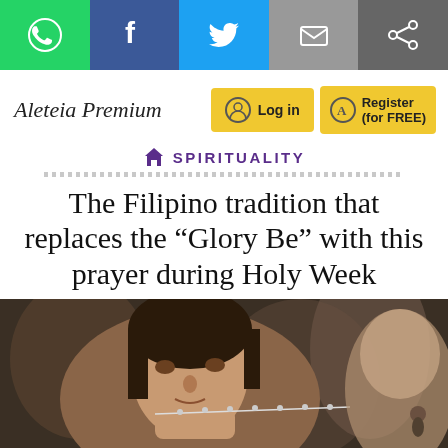[Figure (screenshot): Social media sharing bar with WhatsApp (green), Facebook (blue), Twitter (cyan), Email (grey), and Share icons]
Aleteia Premium
[Figure (infographic): Log in button (yellow) and Register (for FREE) button (yellow) with icons]
SPIRITUALITY
The Filipino tradition that replaces the “Glory Be” with this prayer during Holy Week
[Figure (photo): A woman holding rosary beads up close to her face, praying, with blurred people in the background]